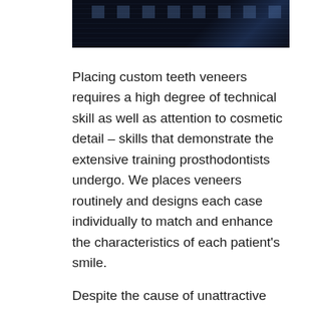[Figure (photo): Dark image at top of page, appears to be a dental or clinical photo with dark blue/black tones]
Placing custom teeth veneers requires a high degree of technical skill as well as attention to cosmetic detail – skills that demonstrate the extensive training prosthodontists undergo. We places veneers routinely and designs each case individually to match and enhance the characteristics of each patient's smile.
Despite the cause of unattractive